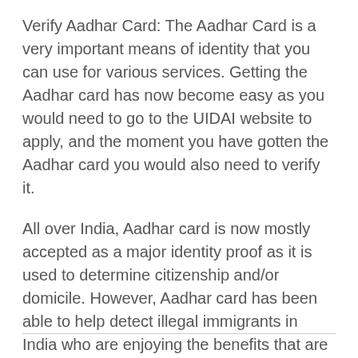Verify Aadhar Card: The Aadhar Card is a very important means of identity that you can use for various services. Getting the Aadhar card has now become easy as you would need to go to the UIDAI website to apply, and the moment you have gotten the Aadhar card you would also need to verify it.
All over India, Aadhar card is now mostly accepted as a major identity proof as it is used to determine citizenship and/or domicile. However, Aadhar card has been able to help detect illegal immigrants in India who are enjoying the benefits that are supposed to be meant for the India citizens.